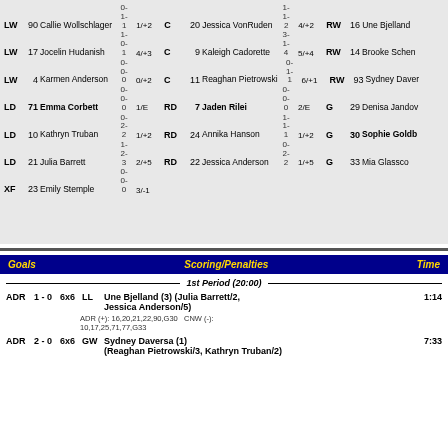| Pos | # | Name | Shots | Pos | # | Name | Shots | Pos | # | Name |
| --- | --- | --- | --- | --- | --- | --- | --- | --- | --- | --- |
| LW | 90 | Callie Wollschlager | 0-
1-
1 1/+2 | C | 20 | Jessica VonRuden | 1-
1-
2 4/+2 | RW | 16 | Une Bjelland |
| LW | 17 | Jocelin Hudanish | 1-
0-
1 4/+3 | C | 9 | Kaleigh Cadorette | 3-
1-
4 5/+4 | RW | 14 | Brooke Schen |
| LW | 4 | Karmen Anderson | 0-
0-
0 0/+2 | C | 11 | Reaghan Pietrowski | 0-
1-
1 6/+1 | RW | 93 | Sydney Daver |
| LD | 71 | Emma Corbett | 0-
0-
0 1/E | RD | 7 | Jaden Rilei | 0-
0-
0 2/E | G | 29 | Denisa Jandov |
| LD | 10 | Kathryn Truban | 0-
2-
2 1/+2 | RD | 24 | Annika Hanson | 1-
1-
1 1/+2 | G | 30 | Sophie Goldb |
| LD | 21 | Julia Barrett | 1-
2-
3 2/+5 | RD | 22 | Jessica Anderson | 0-
2-
2 1/+5 | G | 33 | Mia Glassco |
| XF | 23 | Emily Stemple | 0-
0-
0 3/-1 |  |  |  |  |  |  |  |
| Goals | Scoring/Penalties | Time |
| --- | --- | --- |
| ADR 1 - 0 6x6 | LL | Une Bjelland (3) (Julia Barrett/2, Jessica Anderson/5) | 1:14 |
| ADR 2 - 0 6x6 | GW | Sydney Daversa (1) (Reaghan Pietrowski/3, Kathryn Truban/2) | 7:33 |